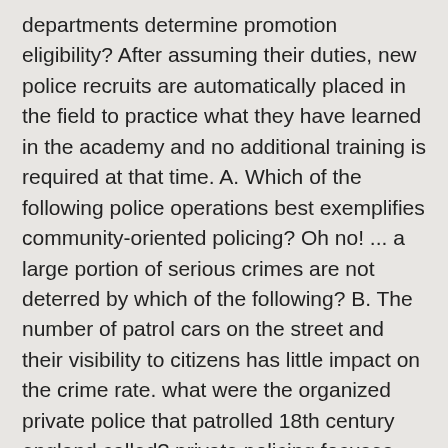departments determine promotion eligibility? After assuming their duties, new police recruits are automatically placed in the field to practice what they have learned in the academy and no additional training is required at that time. A. Which of the following police operations best exemplifies community-oriented policing? Oh no! ... a large portion of serious crimes are not deterred by which of the following? B. The number of patrol cars on the street and their visibility to citizens has little impact on the crime rate. what were the organized private police that patrolled 18th century england called? private policing focuses their efforts on public and private property, henry fielding operated his own monied police, referred as _____ which attempted to clean up earlier policing efforts by deciding which cases to investigate and which streets to protect, the forerunner of todays sheriff in medieval england was the constable, the first us police departments were created because of the need to control